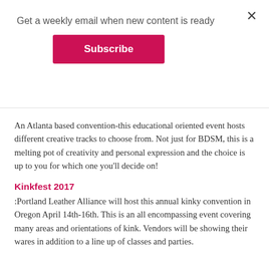Get a weekly email when new content is ready
Subscribe
An Atlanta based convention-this educational oriented event hosts different creative tracks to choose from. Not just for BDSM, this is a melting pot of creativity and personal expression and the choice is up to you for which one you'll decide on!
Kinkfest 2017
:Portland Leather Alliance will host this annual kinky convention in Oregon April 14th-16th. This is an all encompassing event covering many areas and orientations of kink. Vendors will be showing their wares in addition to a line up of classes and parties.